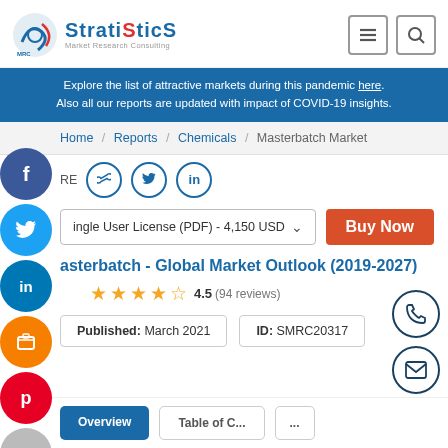Stratistics Market Research Consulting
Explore the list of attractive markets during this pandemic here. Also all our reports are updated with impact of COVID-19 insights.
Home / Reports / Chemicals / Masterbatch Market
SHARE
Single User License (PDF) - 4,150 USD  Buy Now
Masterbatch - Global Market Outlook (2019-2027)
4.5 (94 reviews)
| Published | ID |
| --- | --- |
| March 2021 | SMRC20317 |